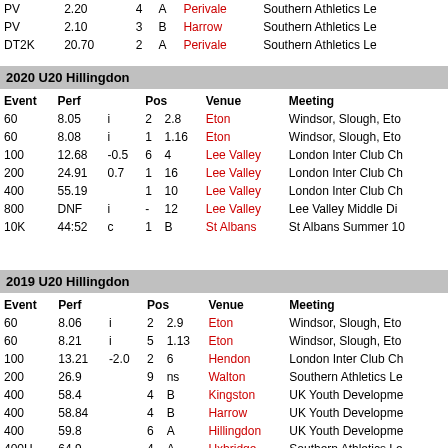| Event | Perf |  |  |  | Venue | Meeting |
| --- | --- | --- | --- | --- | --- | --- |
| PV | 2.20 |  | 4 | A | Perivale | Southern Athletics Le... |
| PV | 2.10 |  | 3 | B | Harrow | Southern Athletics Le... |
| DT2K | 20.70 |  | 2 | A | Perivale | Southern Athletics Le... |
2020 U20 Hillingdon
| Event | Perf |  | Pos |  | Venue | Meeting |
| --- | --- | --- | --- | --- | --- | --- |
| 60 | 8.05 | i | 2 | 2.8 | Eton | Windsor, Slough, Eton... |
| 60 | 8.08 | i | 1 | 1.16 | Eton | Windsor, Slough, Eton... |
| 100 | 12.68 | -0.5 | 6 | 4 | Lee Valley | London Inter Club Ch... |
| 200 | 24.91 | 0.7 | 1 | 16 | Lee Valley | London Inter Club Ch... |
| 400 | 55.19 |  | 1 | 10 | Lee Valley | London Inter Club Ch... |
| 800 | DNF | i | - | 12 | Lee Valley | Lee Valley Middle Dis... |
| 10K | 44:52 | c | 1 | B | St Albans | St Albans Summer 10... |
2019 U20 Hillingdon
| Event | Perf |  | Pos |  | Venue | Meeting |
| --- | --- | --- | --- | --- | --- | --- |
| 60 | 8.06 | i | 2 | 2.9 | Eton | Windsor, Slough, Eton... |
| 60 | 8.21 | i | 5 | 1.13 | Eton | Windsor, Slough, Eton... |
| 100 | 13.21 | -2.0 | 2 | 6 | Hendon | London Inter Club Ch... |
| 200 | 26.9 |  | 9 | ns | Walton | Southern Athletics Le... |
| 400 | 58.4 |  | 4 | B | Kingston | UK Youth Developme... |
| 400 | 58.84 |  | 4 | B | Harrow | UK Youth Developme... |
| 400 | 59.8 |  | 6 | A | Hillingdon | UK Youth Developme... |
| 400H | 64.9 |  | 4 | A | Uxbridge | Southern Athletics Le... |
| 400H | 66.9 |  | 3 | A | Walton | Southern Athletics Le... |
| 400H | 67.1 |  | 5 | A | Kingston | UK Youth Developme... |
| 400H | 67.22 |  | 3 | A | Harrow | UK Youth Developme... |